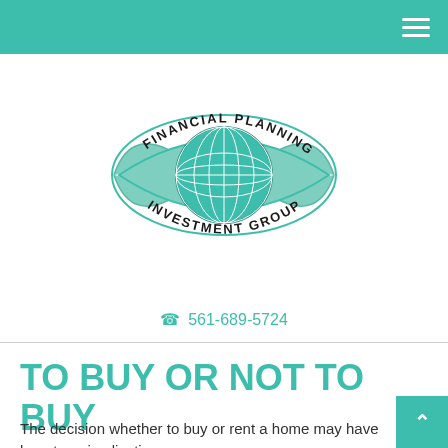Financial Planning Investment Group - header bar
[Figure (logo): Financial Planning Investment Group logo — an eye-shaped emblem with a globe in the center, banner ribbons reading 'FINANCIAL PLANNING' on top and 'INVESTMENT GROUP' on bottom, in teal and dark gray tones.]
561-689-5724
TO BUY OR NOT TO BUY
The decision whether to buy or rent a home may have long-term implications.